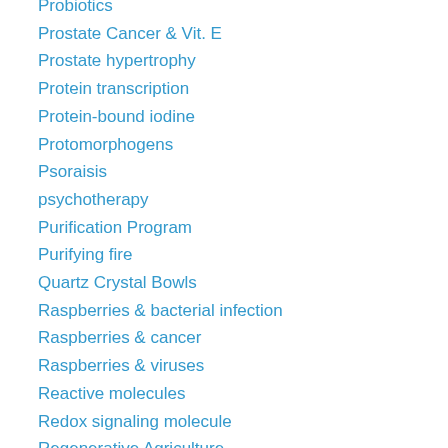Probiotics
Prostate Cancer & Vit. E
Prostate hypertrophy
Protein transcription
Protein-bound iodine
Protomorphogens
Psoraisis
psychotherapy
Purification Program
Purifying fire
Quartz Crystal Bowls
Raspberries & bacterial infection
Raspberries & cancer
Raspberries & viruses
Reactive molecules
Redox signaling molecule
Regenerative Agriculture
Religion and health
Reproductive Organs
Ricoli...